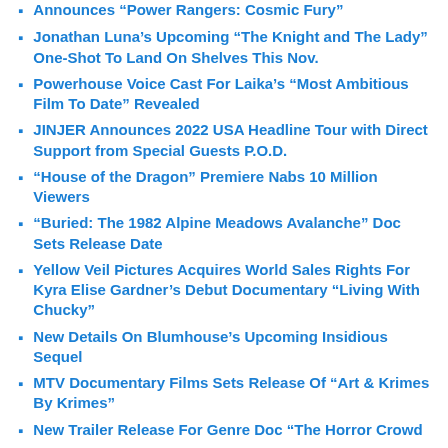Announces “Power Rangers: Cosmic Fury”
Jonathan Luna’s Upcoming “The Knight and The Lady” One-Shot To Land On Shelves This Nov.
Powerhouse Voice Cast For Laika’s “Most Ambitious Film To Date” Revealed
JINJER Announces 2022 USA Headline Tour with Direct Support from Special Guests P.O.D.
“House of the Dragon” Premiere Nabs 10 Million Viewers
“Buried: The 1982 Alpine Meadows Avalanche” Doc Sets Release Date
Yellow Veil Pictures Acquires World Sales Rights For Kyra Elise Gardner’s Debut Documentary “Living With Chucky”
New Details On Blumhouse’s Upcoming Insidious Sequel
MTV Documentary Films Sets Release Of “Art & Krimes By Krimes”
New Trailer Release For Genre Doc “The Horror Crowd